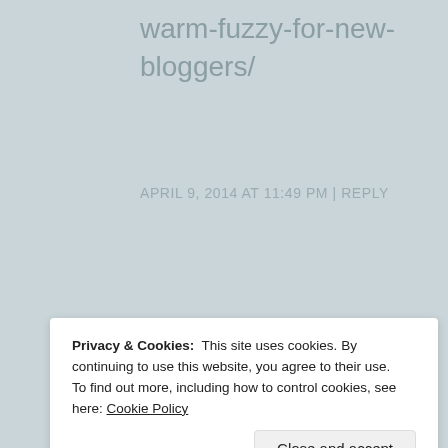warm-fuzzy-for-new-bloggers/
APRIL 9, 2014 AT 11:49 PM | REPLY
[Figure (photo): Circular avatar photo of user cheergerm]
cheergerm
Thanks, that is so lovely, yes, I am actually a bit behind
Privacy & Cookies: This site uses cookies. By continuing to use this website, you agree to their use. To find out more, including how to control cookies, see here: Cookie Policy
Close and accept
have to do one huge